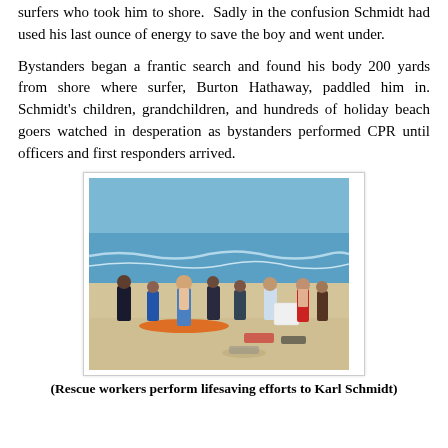surfers who took him to shore.  Sadly in the confusion Schmidt had used his last ounce of energy to save the boy and went under.
Bystanders began a frantic search and found his body 200 yards from shore where surfer, Burton Hathaway, paddled him in. Schmidt's children, grandchildren, and hundreds of holiday beach goers watched in desperation as bystanders performed CPR until officers and first responders arrived.
[Figure (photo): Beach scene with rescue workers and bystanders gathered on sandy beach near the water. An orange kayak or rescue board is visible on the sand. Several people in swimwear and some in dark uniforms are gathered, apparently performing or watching lifesaving efforts to Karl Schmidt.]
(Rescue workers perform lifesaving efforts to Karl Schmidt)